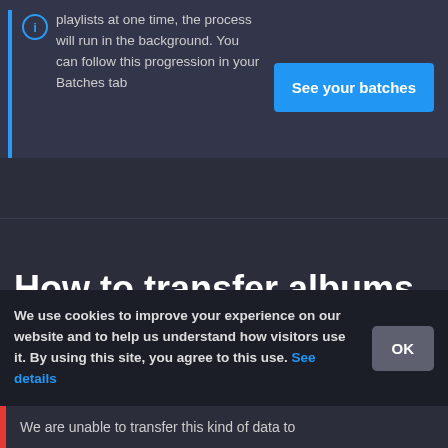playlists at one time, the process will run in the background. You can follow this progression in your Batches tab
[Figure (screenshot): Blue 'See your batches' button]
How to transfer albums from Dailymotion to OUR
We use cookies to improve your experience on our website and to help us understand how visitors use it. By using this site, you agree to this use. See details
We are unable to transfer this kind of data to